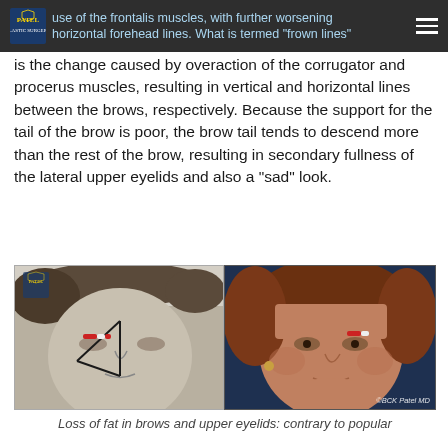use of the frontalis muscles, with further worsening horizontal forehead lines. What is termed "frown lines"
is the change caused by overaction of the corrugator and procerus muscles, resulting in vertical and horizontal lines between the brows, respectively. Because the support for the tail of the brow is poor, the brow tail tends to descend more than the rest of the brow, resulting in secondary fullness of the lateral upper eyelids and also a "sad" look.
[Figure (photo): Two side-by-side clinical photographs. Left: black-and-white photo of a young woman's face with geometric lines drawn over the brow area and red-white markers indicating brow position. Right: color photo of an older woman's face with red-white markers at the brow area, showing brow descent. Watermark 'BCK Patel MD' visible. Patel logo visible in top-left of left image.]
Loss of fat in brows and upper eyelids: contrary to popular